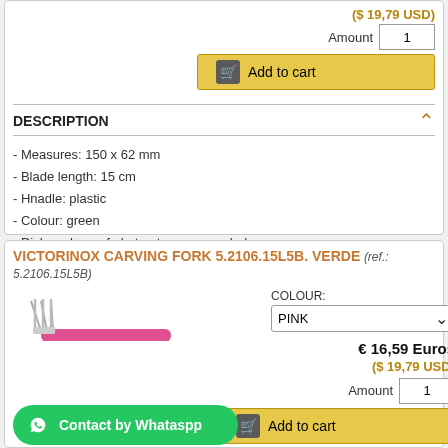($ 19,79 USD)
Amount  1
Add to cart
DESCRIPTION
- Measures: 150 x 62 mm
- Blade length: 15 cm
- Hnadle: plastic
- Colour: green
- Dishwasher safe but not recommended
- Presented in blister
VICTORINOX CARVING FORK 5.2106.15L5B. VERDE (ref.: 5.2106.15L5B)
[Figure (photo): Victorinox carving fork with pink handle]
COLOUR: PINK
€ 16,59 Euros
($ 19,79 USD)
Amount  1
Add to cart
Contact by Whataspp